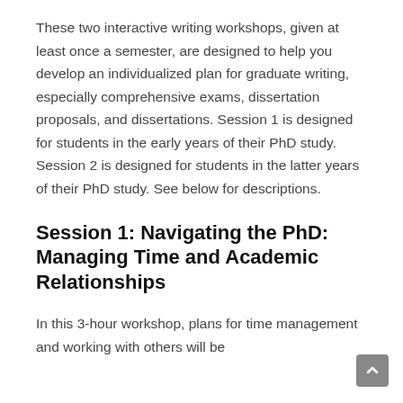These two interactive writing workshops, given at least once a semester, are designed to help you develop an individualized plan for graduate writing, especially comprehensive exams, dissertation proposals, and dissertations. Session 1 is designed for students in the early years of their PhD study. Session 2 is designed for students in the latter years of their PhD study. See below for descriptions.
Session 1: Navigating the PhD: Managing Time and Academic Relationships
In this 3-hour workshop, plans for time management and working with others will be